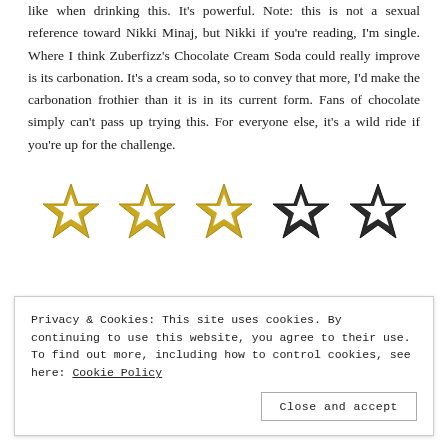like when drinking this. It's powerful. Note: this is not a sexual reference toward Nikki Minaj, but Nikki if you're reading, I'm single. Where I think Zuberfizz's Chocolate Cream Soda could really improve is its carbonation. It's a cream soda, so to convey that more, I'd make the carbonation frothier than it is in its current form. Fans of chocolate simply can't pass up trying this. For everyone else, it's a wild ride if you're up for the challenge.
[Figure (other): Five stars rating: three gold filled stars and two dark/black stars indicating a 3 out of 5 star rating]
Three Stars
Privacy & Cookies: This site uses cookies. By continuing to use this website, you agree to their use. To find out more, including how to control cookies, see here: Cookie Policy
Close and accept